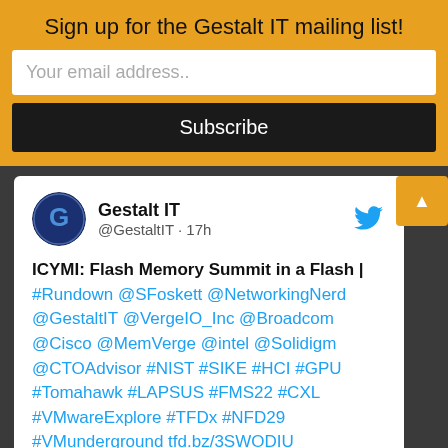Sign up for the Gestalt IT mailing list!
Your email address..
Subscribe
Gestalt IT @GestaltIT · 17h
ICYMI: Flash Memory Summit in a Flash | #Rundown @SFoskett @NetworkingNerd @GestaltIT @VergeIO_Inc @Broadcom @Cisco @MemVerge @intel @Solidigm @CTOAdvisor #NIST #SIKE #HCI #GPU #Tomahawk #LAPSUS #FMS22 #CXL #VMwareExplore #TFDx #NFD29 #VMunderground tfd.bz/3SWODIU